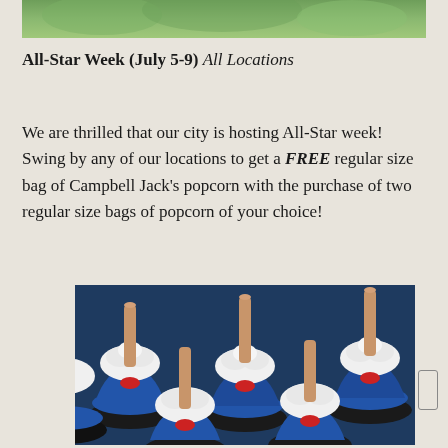[Figure (photo): Top portion of a decorative image, green/nature tones, partially visible at top of page]
All-Star Week (July 5-9) All Locations
We are thrilled that our city is hosting All-Star week! Swing by any of our locations to get a FREE regular size bag of Campbell Jack's popcorn with the purchase of two regular size bags of popcorn of your choice!
[Figure (photo): Close-up photo of cupcakes decorated with blue, white, and red frosting with wooden popsicle sticks inserted as toppers — patriotic/baseball theme]